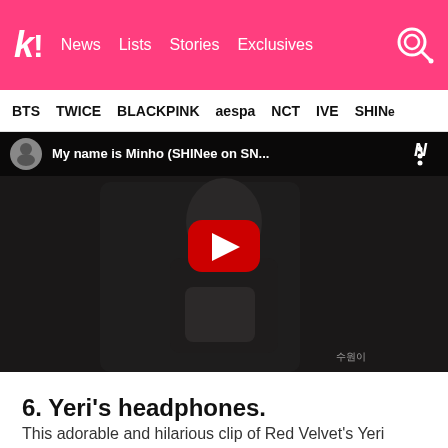k! News | Lists | Stories | Exclusives
BTS | TWICE | BLACKPINK | aespa | NCT | IVE | SHINee
[Figure (screenshot): YouTube video thumbnail showing a dark scene of a person in black clothing making a fist gesture. The video title reads 'My name is Minho (SHINee on SN...' with a YouTube channel avatar, a red play button in the center, and a watermark in bottom right corner.]
6. Yeri's headphones.
This adorable and hilarious clip of Red Velvet's Yeri wearing headphones has reached a